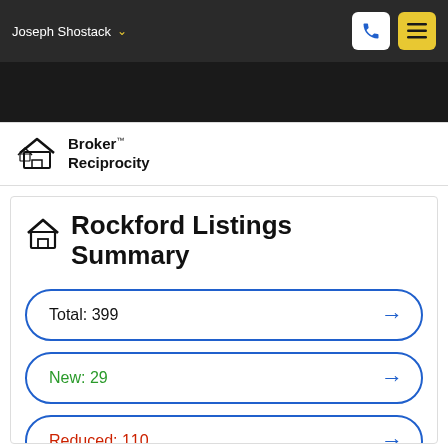Joseph Shostack
[Figure (logo): Broker Reciprocity logo with house icon and text 'Broker Reciprocity']
Rockford Listings Summary
Total: 399
New: 29
Reduced: 110